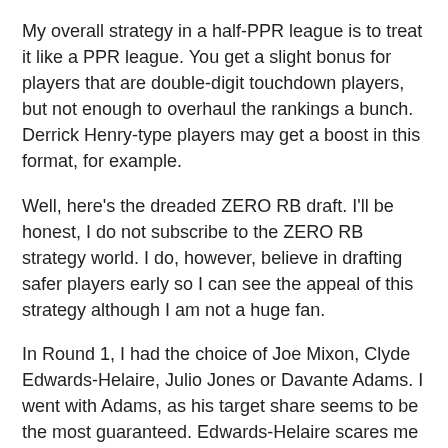My overall strategy in a half-PPR league is to treat it like a PPR league. You get a slight bonus for players that are double-digit touchdown players, but not enough to overhaul the rankings a bunch. Derrick Henry-type players may get a boost in this format, for example.
Well, here's the dreaded ZERO RB draft. I'll be honest, I do not subscribe to the ZERO RB strategy world. I do, however, believe in drafting safer players early so I can see the appeal of this strategy although I am not a huge fan.
In Round 1, I had the choice of Joe Mixon, Clyde Edwards-Helaire, Julio Jones or Davante Adams. I went with Adams, as his target share seems to be the most guaranteed. Edwards-Helaire scares me as the hype train is now out of control. Mixon was tough to pass on, but he struggled early last year and with wanting to be safer early, Adams won out for me.